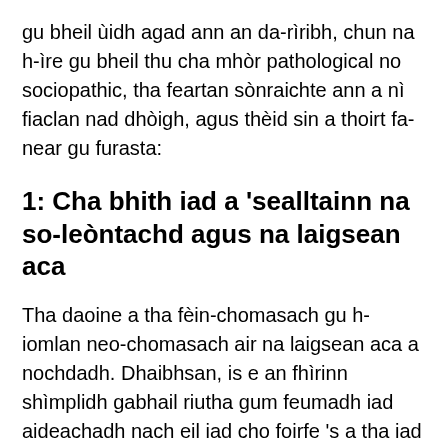gu bheil ùidh agad ann an da-rìribh, chun na h-ìre gu bheil thu cha mhòr pathological no sociopathic, tha feartan sònraichte ann a nì fiaclan nad dhòigh, agus thèid sin a thoirt fa-near gu furasta:
1: Cha bhith iad a 'sealltainn na so-leòntachd agus na laigsean aca
Tha daoine a tha fèin-chomasach gu h-iomlan neo-chomasach air na laigsean aca a nochdadh. Dhaibhsan, is e an fhìrinn shìmplidh gabhail riutha gum feumadh iad aideachadh nach eil iad cho foirfe 's a tha iad an dùil a bhiodh daoine eile a' smaoineachadh, agus mar sin cha bhith iad ag aideachadh a bheil iad ceàrr no ma tha eagal orra ro rudeigin.